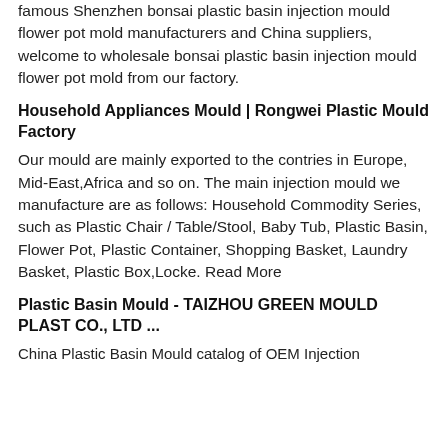famous Shenzhen bonsai plastic basin injection mould flower pot mold manufacturers and China suppliers, welcome to wholesale bonsai plastic basin injection mould flower pot mold from our factory.
Household Appliances Mould | Rongwei Plastic Mould Factory
Our mould are mainly exported to the contries in Europe, Mid-East,Africa and so on. The main injection mould we manufacture are as follows: Household Commodity Series, such as Plastic Chair / Table/Stool, Baby Tub, Plastic Basin, Flower Pot, Plastic Container, Shopping Basket, Laundry Basket, Plastic Box,Locke. Read More
Plastic Basin Mould - TAIZHOU GREEN MOULD PLAST CO., LTD ...
China Plastic Basin Mould catalog of OEM Injection